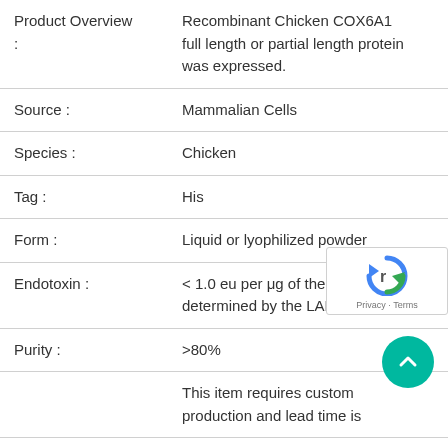| Field | Value |
| --- | --- |
| Product Overview : | Recombinant Chicken COX6A1 full length or partial length protein was expressed. |
| Source : | Mammalian Cells |
| Species : | Chicken |
| Tag : | His |
| Form : | Liquid or lyophilized powder |
| Endotoxin : | < 1.0 eu per μg of the protein as determined by the LAL meth |
| Purity : | >80% |
|  | This item requires custom production and lead time is |